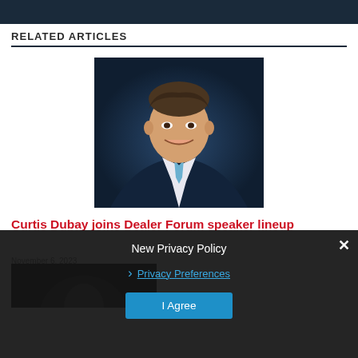[Figure (photo): Dark navy banner at top of page]
RELATED ARTICLES
[Figure (photo): Professional headshot of man in dark suit with blue tie, smiling, dark blue background]
Curtis Dubay joins Dealer Forum speaker lineup
November 6, 2023
[Figure (photo): Partial photo of second person, partially obscured by privacy policy overlay]
New Privacy Policy
Privacy Preferences
I Agree